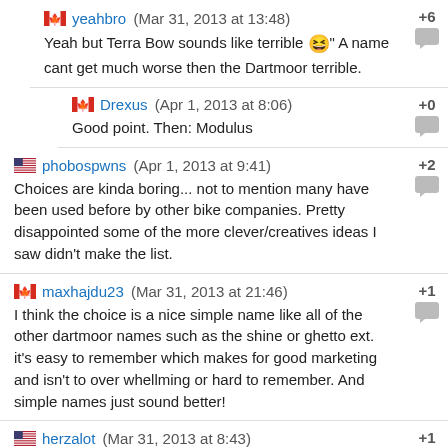yeahbro (Mar 31, 2013 at 13:48) +6
Yeah but Terra Bow sounds like terrible 😆 A name cant get much worse then the Dartmoor terrible.
Drexus (Apr 1, 2013 at 8:06) +0
Good point. Then: Modulus
phobospwns (Apr 1, 2013 at 9:41) +2
Choices are kinda boring... not to mention many have been used before by other bike companies. Pretty disappointed some of the more clever/creatives ideas I saw didn't make the list.
maxhajdu23 (Mar 31, 2013 at 21:46) +1
I think the choice is a nice simple name like all of the other dartmoor names such as the shine or ghetto ext. it's easy to remember which makes for good marketing and isn't to over whellming or hard to remember. And simple names just sound better!
herzalot (Mar 31, 2013 at 8:43) +1
I thought I read that Dartmoor was a Colorado based company. If that's the case, then Chinook is the best way to go. Chinook winds